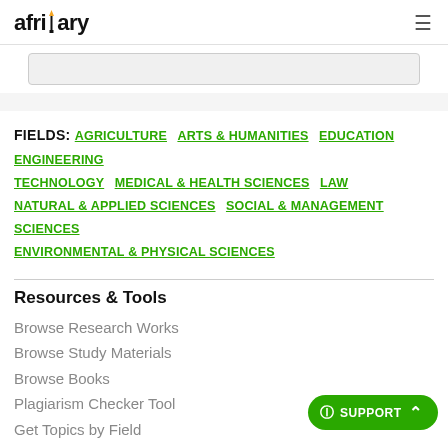afribary
FIELDS: AGRICULTURE  ARTS & HUMANITIES  EDUCATION  ENGINEERING TECHNOLOGY  MEDICAL & HEALTH SCIENCES  LAW  NATURAL & APPLIED SCIENCES  SOCIAL & MANAGEMENT SCIENCES  ENVIRONMENTAL & PHYSICAL SCIENCES
Resources & Tools
Browse Research Works
Browse Study Materials
Browse Books
Plagiarism Checker Tool
Get Topics by Field
Company Info